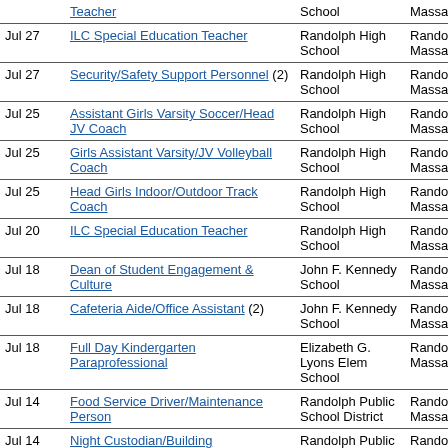| Date | Position | School | Location |
| --- | --- | --- | --- |
|  | Teacher | School | Massachusetts |
| Jul 27 | ILC Special Education Teacher | Randolph High School | Randolph, Massachusetts |
| Jul 27 | Security/Safety Support Personnel (2) | Randolph High School | Randolph, Massachusetts |
| Jul 25 | Assistant Girls Varsity Soccer/Head JV Coach | Randolph High School | Randolph, Massachusetts |
| Jul 25 | Girls Assistant Varsity/JV Volleyball Coach | Randolph High School | Randolph, Massachusetts |
| Jul 25 | Head Girls Indoor/Outdoor Track Coach | Randolph High School | Randolph, Massachusetts |
| Jul 20 | ILC Special Education Teacher | Randolph High School | Randolph, Massachusetts |
| Jul 18 | Dean of Student Engagement & Culture | John F. Kennedy School | Randolph, Massachusetts |
| Jul 18 | Cafeteria Aide/Office Assistant (2) | John F. Kennedy School | Randolph, Massachusetts |
| Jul 18 | Full Day Kindergarten Paraprofessional | Elizabeth G. Lyons Elem School | Randolph, Massachusetts |
| Jul 14 | Food Service Driver/Maintenance Person | Randolph Public School District | Randolph, Massachusetts |
| Jul 14 | Night Custodian/Building Maintenance Person | Randolph Public School District | Randolph, Massachusetts |
| Jul 12 | Special Education Paraprofessional - TLC (2) | Elizabeth G. Lyons Elem School | Randolph, Massachusetts |
| Jul 6 | LBLC Paraprofessional | Randolph Community Middle School | Randolph, Massachusetts |